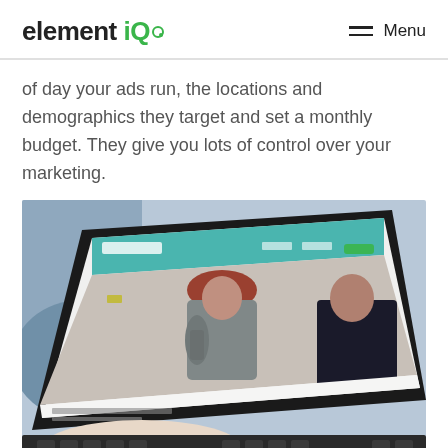element iQ  Menu
of day your ads run, the locations and demographics they target and set a monthly budget. They give you lots of control over your marketing.
[Figure (photo): A person using a laptop showing a website with fitness/gym content, including images of people working out. The laptop screen displays a website with a teal/green header and images of people in a gym setting.]